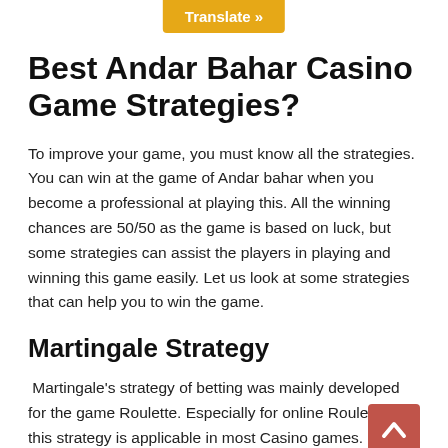Translate »
Best Andar Bahar Casino Game Strategies?
To improve your game, you must know all the strategies. You can win at the game of Andar bahar when you become a professional at playing this. All the winning chances are 50/50 as the game is based on luck, but some strategies can assist the players in playing and winning this game easily. Let us look at some strategies that can help you to win the game.
Martingale Strategy
Martingale's strategy of betting was mainly developed for the game Roulette. Especially for online Roulette but this strategy is applicable in most Casino games. It works best in the match Andar Bahar and can contribute to you win the round. Andar Bahar martingale strategy has two basic principles that help you earn. These two